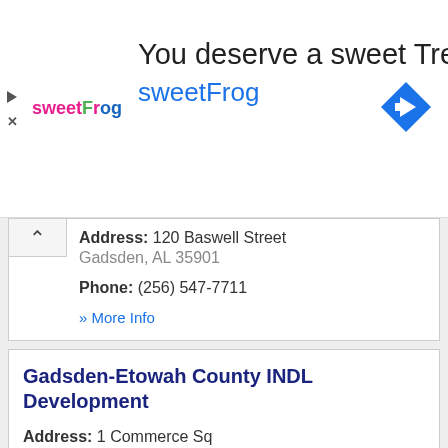[Figure (other): sweetFrog advertisement banner with logo, tagline 'You deserve a sweet Treat', brand name 'sweetFrog', navigation arrow icon, play and close icons]
Address: 120 Baswell Street
Gadsden, AL 35901
Phone: (256) 547-7711
» More Info
Gadsden-Etowah County INDL Development
Address: 1 Commerce Sq
Gadsden, AL 35901
Phone: (256) 543-9423
» More Info